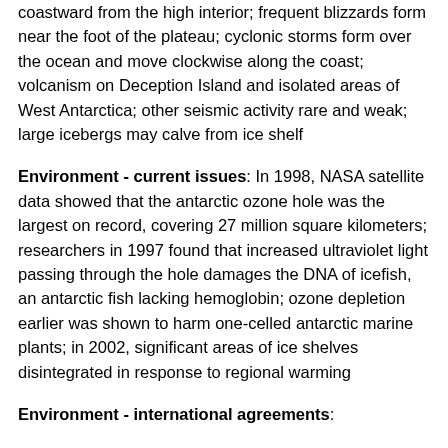coastward from the high interior; frequent blizzards form near the foot of the plateau; cyclonic storms form over the ocean and move clockwise along the coast; volcanism on Deception Island and isolated areas of West Antarctica; other seismic activity rare and weak; large icebergs may calve from ice shelf
Environment - current issues: In 1998, NASA satellite data showed that the antarctic ozone hole was the largest on record, covering 27 million square kilometers; researchers in 1997 found that increased ultraviolet light passing through the hole damages the DNA of icefish, an antarctic fish lacking hemoglobin; ozone depletion earlier was shown to harm one-celled antarctic marine plants; in 2002, significant areas of ice shelves disintegrated in response to regional warming
Environment - international agreements:
Geography - note: The coldest, windiest, highest (on average) and driest continent; during summer, more solar radiation reaches the surface at the South Pole than is received at the Equator in an equivalent period